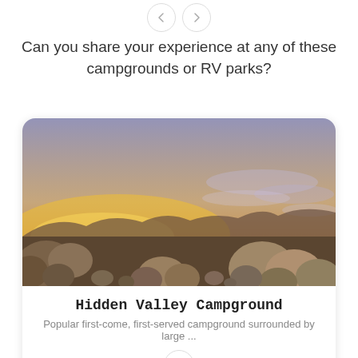Can you share your experience at any of these campgrounds or RV parks?
[Figure (photo): Desert sunset landscape with rocky boulders and colorful sky at Hidden Valley Campground]
Hidden Valley Campground
Popular first-come, first-served campground surrounded by large ...